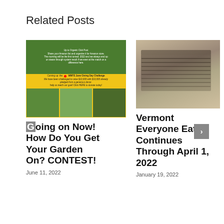Related Posts
[Figure (photo): Fundraiser/garden collage image with green top section, yellow middle band with red dot and text about WMTS June Giving Day Challenge, and garden photos at bottom]
Going on Now! How Do You Get Your Garden On? CONTEST!
June 11, 2022
[Figure (photo): Stack of meal trays/containers in a kitchen setting]
Vermont Everyone Eats Continues Through April 1, 2022
January 19, 2022